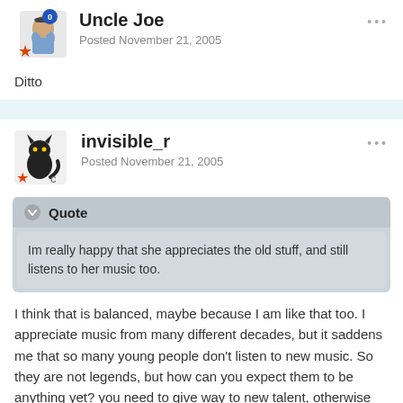Uncle Joe
Posted November 21, 2005
Ditto
invisible_r
Posted November 21, 2005
Quote
Im really happy that she appreciates the old stuff, and still listens to her music too.
I think that is balanced, maybe because I am like that too. I appreciate music from many different decades, but it saddens me that so many young people don't listen to new music. So they are not legends, but how can you expect them to be anything yet? you need to give way to new talent, otherwise music will just die